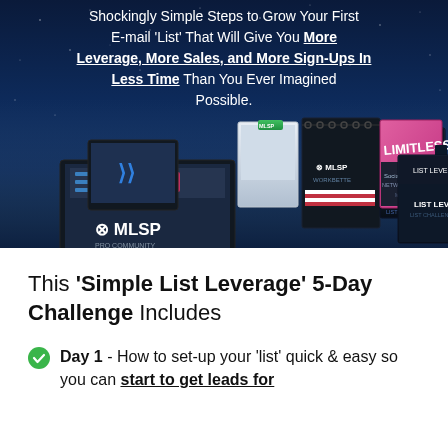Shockingly Simple Steps to Grow Your First E-mail 'List' That Will Give You More Leverage, More Sales, and More Sign-Ups In Less Time Than You Ever Imagined Possible.
[Figure (photo): Collection of MLSP marketing products including List Leverage books, MLSP workbooks, Limitless and Social Media Networking & Prospecting course boxes, laptop and tablet screens showing software interfaces]
This 'Simple List Leverage' 5-Day Challenge Includes
Day 1 - How to set-up your 'list' quick & easy so you can start to get leads for